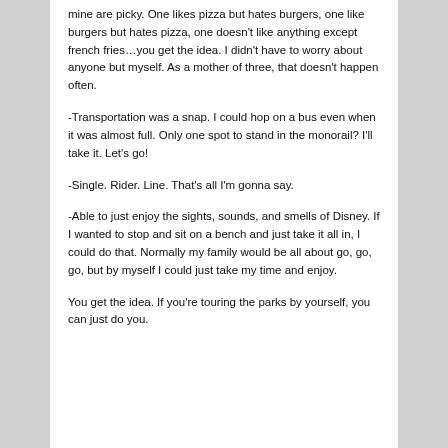mine are picky.  One likes pizza but hates burgers, one like burgers but hates pizza, one doesn't like anything except french fries…you get the idea.  I didn't have to worry about anyone but myself.  As a mother of three, that doesn't happen often.
-Transportation was a snap.  I could hop on a bus even when it was almost full.  Only one spot to stand in the monorail?  I'll take it.  Let's go!
-Single. Rider. Line.  That's all I'm gonna say.
-Able to just enjoy the sights, sounds, and smells of Disney.  If I wanted to stop and sit on a bench and just take it all in, I could do that.  Normally my family would be all about go, go, go, but by myself I could just take my time and enjoy.
You get the idea.  If you're touring the parks by yourself, you can just do you.